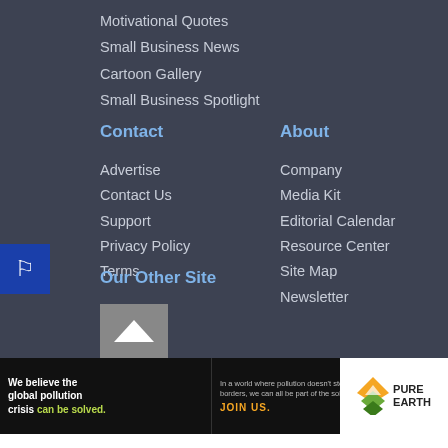Motivational Quotes
Small Business News
Cartoon Gallery
Small Business Spotlight
Contact
About
Advertise
Company
Contact Us
Media Kit
Support
Editorial Calendar
Privacy Policy
Resource Center
Terms
Site Map
Newsletter
Our Other Site
[Figure (other): Small thumbnail image placeholder for another site]
[Figure (infographic): Pure Earth advertisement banner: We believe the global pollution crisis can be solved. In a world where pollution doesn't stop at borders, we can all be part of the solution. JOIN US. Pure Earth logo.]